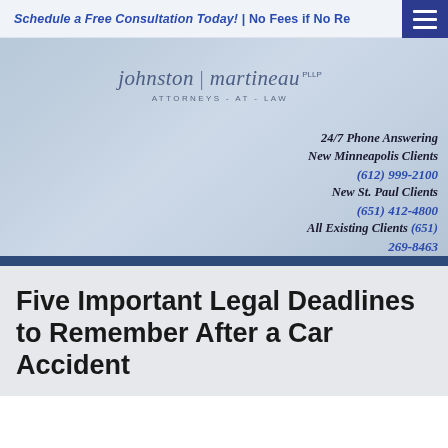Schedule a Free Consultation Today! | No Fees if No Recovery
[Figure (logo): Johnston | Martineau PLLP - Attorneys at Law law firm logo with stylized text]
24/7 Phone Answering New Minneapolis Clients (612) 999-2100 New St. Paul Clients (651) 412-4800 All Existing Clients (651) 269-8463
Five Important Legal Deadlines to Remember After a Car Accident